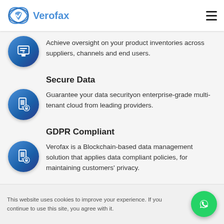Verofax
Achieve oversight on your product inventories across suppliers, channels and end users.
Secure Data
Guarantee your data securityon enterprise-grade multi-tenant cloud from leading providers.
GDPR Compliant
Verofax is a Blockchain-based data management solution that applies data compliant policies, for maintaining customers' privacy.
This website uses cookies to improve your experience. If you continue to use this site, you agree with it.